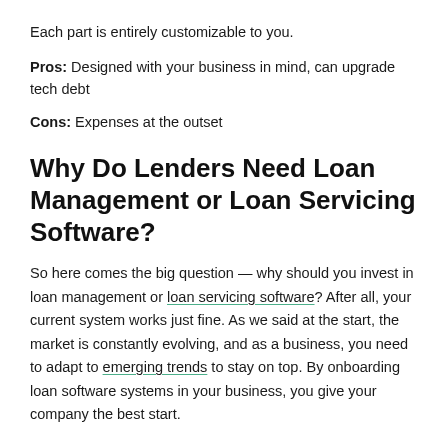Each part is entirely customizable to you.
Pros: Designed with your business in mind, can upgrade tech debt
Cons: Expenses at the outset
Why Do Lenders Need Loan Management or Loan Servicing Software?
So here comes the big question — why should you invest in loan management or loan servicing software? After all, your current system works just fine. As we said at the start, the market is constantly evolving, and as a business, you need to adapt to emerging trends to stay on top. By onboarding loan software systems in your business, you give your company the best start.